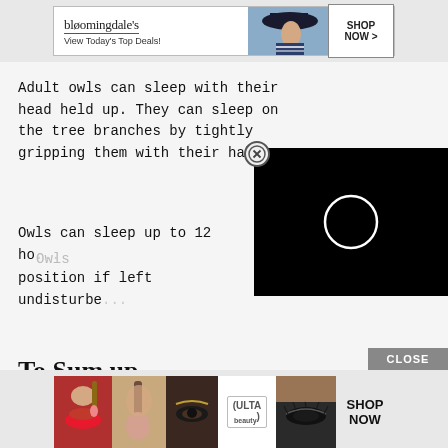[Figure (screenshot): Bloomingdale's advertisement banner: logo with 'View Today's Top Deals!' text, woman with hat image, and 'SHOP NOW >' button]
Adult owls can sleep with their head held up. They can sleep on the tree branches by tightly gripping them with their hallux.
Owls can sleep up to 12 ho... position if left undisturbe...
[Figure (screenshot): Video player overlay showing a black background with a white circle/loading spinner icon, with a close (X) button in the top right corner]
To Sum up
[Figure (screenshot): ULTA Beauty advertisement banner with cosmetic product images and 'SHOP NOW' button, with 'CLOSE' button above]
Owls...